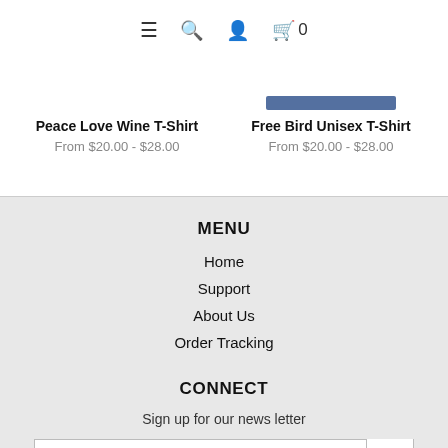[Figure (screenshot): Navigation bar with hamburger menu, search icon, user icon, and shopping bag icon with 0 count]
[Figure (screenshot): Product image placeholder - blue bar for Free Bird Unisex T-Shirt]
Peace Love Wine T-Shirt
From $20.00 - $28.00
Free Bird Unisex T-Shirt
From $20.00 - $28.00
MENU
Home
Support
About Us
Order Tracking
CONNECT
Sign up for our news letter
Join our mailing list